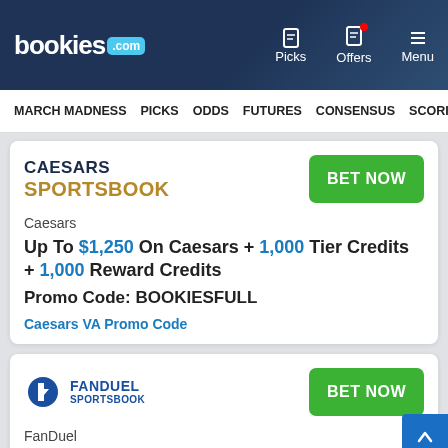bookies.com | Picks | Offers | Menu
MARCH MADNESS | PICKS | ODDS | FUTURES | CONSENSUS | SCORI
[Figure (logo): Caesars Sportsbook logo with BET NOW button]
Caesars
Up To $1,250 On Caesars + 1,000 Tier Credits + 1,000 Reward Credits
Promo Code: BOOKIESFULL
Caesars VA Promo Code
[Figure (logo): FanDuel Sportsbook logo with BET NOW button]
FanDuel